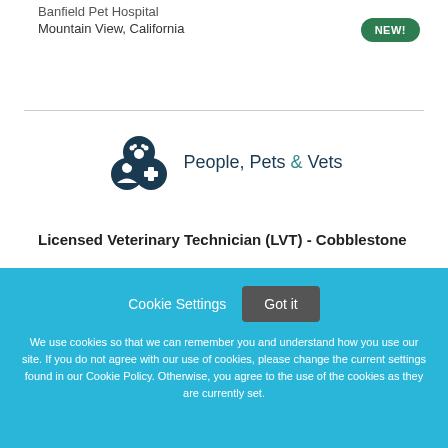Banfield Pet Hospital
Mountain View, California
[Figure (logo): People, Pets & Vets logo with dark blue circular icons]
Licensed Veterinary Technician (LVT) - Cobblestone
Cookie Settings   Got it
We use cookies so that we can remember you and understand how you use our site. If you do not agree with our use of cookies, please change the current settings found in our Cookie Policy. Otherwise, you agree to the use of the cookies as they are currently set.